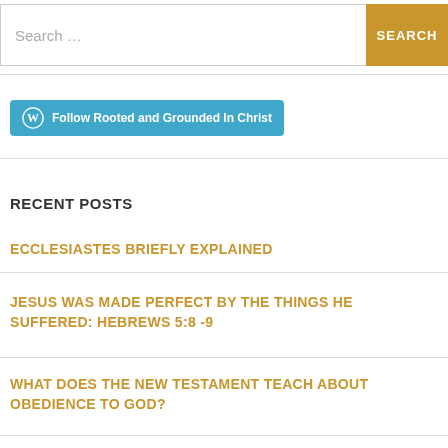Search ...
[Figure (screenshot): Follow Rooted and Grounded In Christ button with WordPress logo on teal/blue background]
RECENT POSTS
ECCLESIASTES BRIEFLY EXPLAINED
JESUS WAS MADE PERFECT BY THE THINGS HE SUFFERED: HEBREWS 5:8 -9
WHAT DOES THE NEW TESTAMENT TEACH ABOUT OBEDIENCE TO GOD?